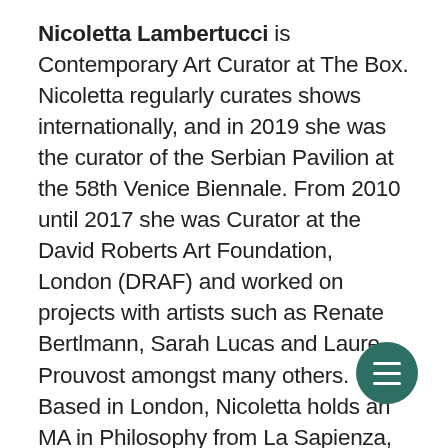Nicoletta Lambertucci is Contemporary Art Curator at The Box. Nicoletta regularly curates shows internationally, and in 2019 she was the curator of the Serbian Pavilion at the 58th Venice Biennale. From 2010 until 2017 she was Curator at the David Roberts Art Foundation, London (DRAF) and worked on projects with artists such as Renate Bertlmann, Sarah Lucas and Laure Prouvost amongst many others. Based in London, Nicoletta holds an MA in Philosophy from La Sapienza, University of Rome and studied Contemporary Art Theory at Goldsmiths, University of London (MA) with a specific focus on knowledge production and history of ideas. In 2011 Nicoletta was Research Fellow at Goldsmiths College where she researched
[Figure (other): Circular dark teal hamburger menu button with three white horizontal lines]